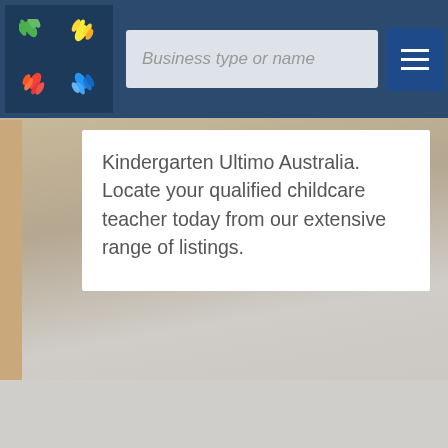[Figure (screenshot): Website header navigation bar with colorful hands logo, search input field labelled 'Business type or name', and hamburger menu button on dark blue background]
Kindergarten Ultimo Australia. Locate your qualified childcare teacher today from our extensive range of listings.
[Figure (photo): Blurred background photo of wooden blocks and children, muted tan and gray tones]